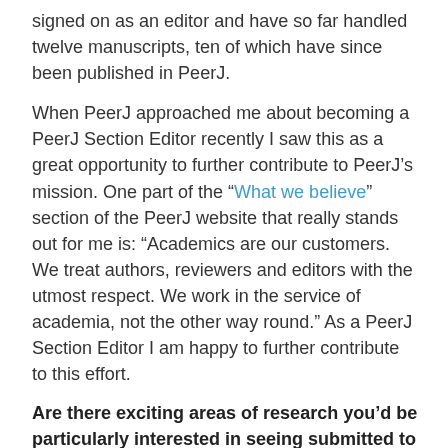signed on as an editor and have so far handled twelve manuscripts, ten of which have since been published in PeerJ.
When PeerJ approached me about becoming a PeerJ Section Editor recently I saw this as a great opportunity to further contribute to PeerJ’s mission. One part of the “What we believe” section of the PeerJ website that really stands out for me is: “Academics are our customers. We treat authors, reviewers and editors with the utmost respect. We work in the service of academia, not the other way round.” As a PeerJ Section Editor I am happy to further contribute to this effort.
Are there exciting areas of research you’d be particularly interested in seeing submitted to the journal?
I’m excited about all things Biodiversity and Conservation. I personally am always keen to read more about the use of community science information in conservation work, but that’s just me. It would be great if we would see more manuscripts on conservation success stories submitted to